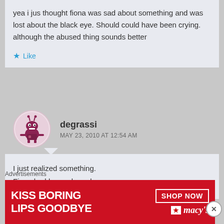yea i jus thought fiona was sad about something and was lost about the black eye. Should could have been crying. although the abused thing sounds better
Like
degrassi
MAY 23, 2010 AT 12:54 AM
I just realized something.
Fiona had been abused.
Advertisements
[Figure (screenshot): Macy's advertisement banner: KISS BORING LIPS GOODBYE with SHOP NOW button and macys logo with star, red background, woman's lips photo]